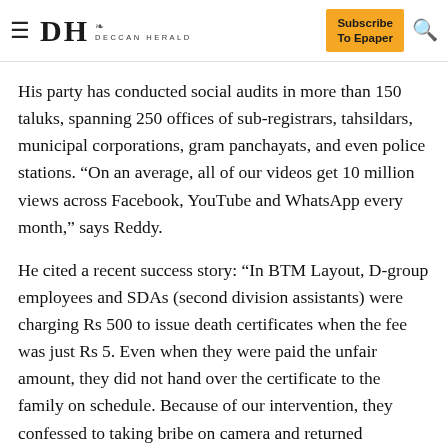DH DECCAN HERALD | Subscribe To Epaper
His party has conducted social audits in more than 150 taluks, spanning 250 offices of sub-registrars, tahsildars, municipal corporations, gram panchayats, and even police stations. “On an average, all of our videos get 10 million views across Facebook, YouTube and WhatsApp every month,” says Reddy.
He cited a recent success story: “In BTM Layout, D-group employees and SDAs (second division assistants) were charging Rs 500 to issue death certificates when the fee was just Rs 5. Even when they were paid the unfair amount, they did not hand over the certificate to the family on schedule. Because of our intervention, they confessed to taking bribe on camera and returned